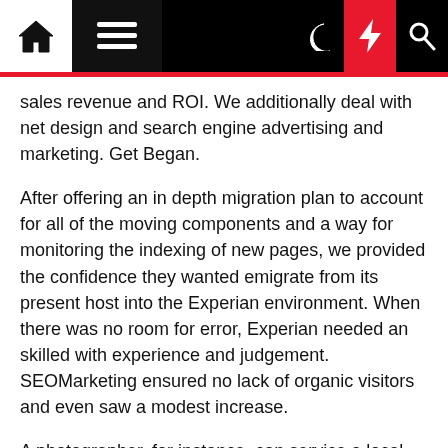Navigation bar with home, menu, dark mode, flash, and search icons
sales revenue and ROI. We additionally deal with net design and search engine advertising and marketing. Get Began.
After offering an in depth migration plan to account for all of the moving components and a way for monitoring the indexing of new pages, we provided the confidence they wanted emigrate from its present host into the Experian environment. When there was no room for error, Experian needed an skilled with experience and judgement. SEOMarketing ensured no lack of organic visitors and even saw a modest increase.
A photographer, for instance, can service a local occasion while promoting prints online through their Instagram account. A copywriter can sell a